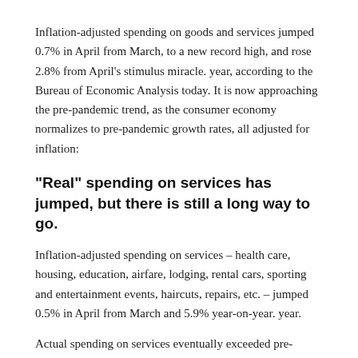Inflation-adjusted spending on goods and services jumped 0.7% in April from March, to a new record high, and rose 2.8% from April's stimulus miracle. year, according to the Bureau of Economic Analysis today. It is now approaching the pre-pandemic trend, as the consumer economy normalizes to pre-pandemic growth rates, all adjusted for inflation:
“Real” spending on services has jumped, but there is still a long way to go.
Inflation-adjusted spending on services – health care, housing, education, airfare, lodging, rental cars, sporting and entertainment events, haircuts, repairs, etc. – jumped 0.5% in April from March and 5.9% year-on-year. year.
Actual spending on services eventually exceeded pre-pandemic levels and set a new record, after spending on discretionary services collapsed during the pandemic (such as airline tickets,